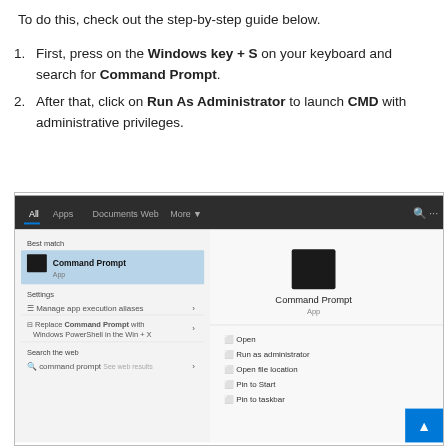To do this, check out the step-by-step guide below.
First, press on the Windows key + S on your keyboard and search for Command Prompt.
After that, click on Run As Administrator to launch CMD with administrative privileges.
[Figure (screenshot): Windows 10 search results showing Command Prompt with right-click context menu options: Open, Run as administrator, Open file location, Pin to Start, Pin to taskbar.]